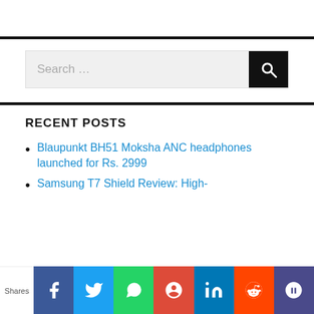[Figure (other): Horizontal black divider bar]
[Figure (other): Search box with magnifying glass button]
[Figure (other): Horizontal black divider bar]
RECENT POSTS
Blaupunkt BH51 Moksha ANC headphones launched for Rs. 2999
Samsung T7 Shield Review: High-
[Figure (other): Social share bar with Shares label and icons for Facebook, Twitter, WhatsApp, Google+, LinkedIn, Reddit, and another platform]